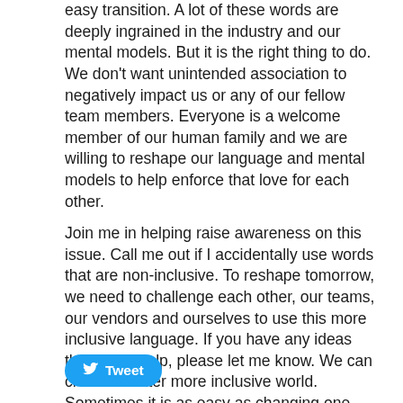easy transition.  A lot of these words are deeply ingrained in the industry and our mental models.  But it is the right thing to do.  We don't want unintended association to negatively impact us or any of our fellow team members.  Everyone is a welcome member of our human family and we are willing to reshape our language and mental models to help enforce that love for each other.
Join me in helping raise awareness on this issue.  Call me out if I accidentally use words that are non-inclusive.  To reshape tomorrow, we need to challenge each other, our teams, our vendors and ourselves to use this more inclusive language.  If you have any ideas that might help, please let me know.  We can create a better more inclusive world.  Sometimes it is as easy as changing one word at a time.
[Figure (other): Twitter Tweet button with bird icon]